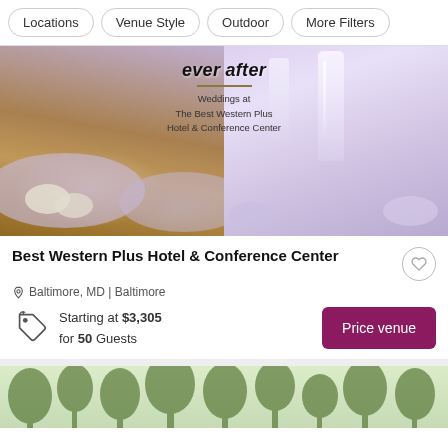Locations
Venue Style
Outdoor
More Filters
[Figure (photo): Wedding banquet table setting with purple linens, salads, glassware, and candles on left; champagne flute glasses with purple-toned bokeh background on right. Overlay text reads 'ever after / Weddings at / The Best Western Plus / Hotel & Conference Center']
Best Western Plus Hotel & Conference Center
Baltimore, MD | Baltimore
Starting at $3,305 for 50 Guests
Price venue
[Figure (photo): Partial view of outdoor venue with trees against a light sky, shown at bottom of page]